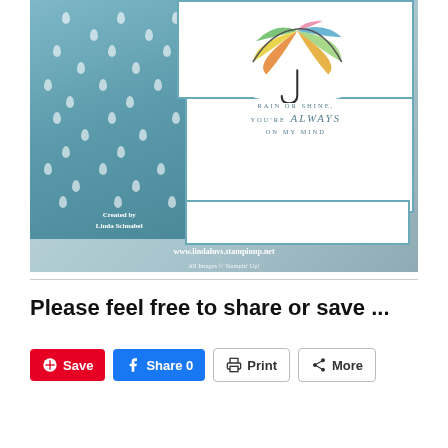[Figure (photo): Handmade greeting card featuring a rainbow-colored umbrella over a cloud, a blue rain-patterned panel with white raindrops, and the stamped sentiment 'Rain or Shine, You're always on my mind'. Created by Linda Schnabel. Website: www.lindaluvs.stampinup.net. All Images © Stampin' Up!]
Please feel free to share or save ...
Save | Share 0 | Print | More